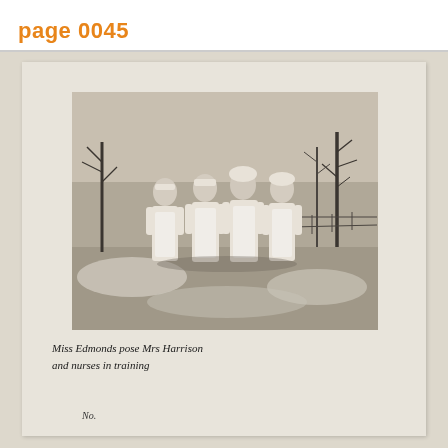page 0045
[Figure (photo): Black and white photograph of four women in white nurse uniforms and aprons standing outdoors in a winter scene with bare trees and snow on the ground.]
Miss Edmonds pose Mrs Harrison and nurses in training
No.